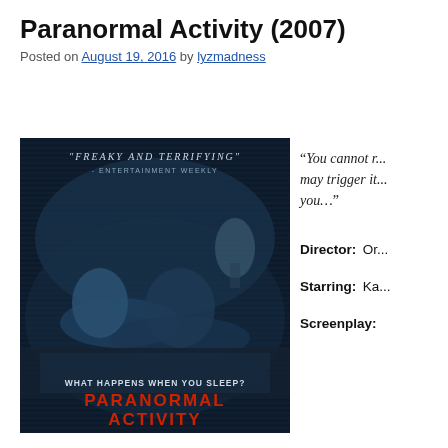Paranormal Activity (2007)
Posted on August 19, 2016 by lyzmadness
[Figure (photo): Movie poster for Paranormal Activity (2007) showing two people asleep in bed from a night-vision camera angle, with text 'Freaky and Terrifying' - Entertainment Weekly, 'What Happens When You Sleep? Paranormal Activity' in red text at the bottom]
“You cannot r... may trigger it... you…”
Director:  Or...
Starring:  Ka...
Screenplay: